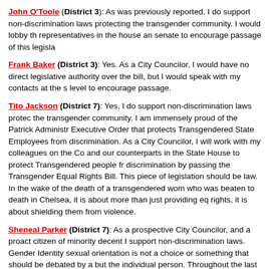John O'Toole (District 3): As was previously reported, I do support non-discrimination laws protecting the transgender community. I would lobby the representatives in the house an senate to encourage passage of this legisla...
Frank Baker (District 3): Yes. As a City Councilor, I would have no direct legislative authority over the bill, but I would speak with my contacts at the s... level to encourage passage.
Tito Jackson (District 7): Yes, I do support non-discrimination laws protec... the transgender community. I am immensely proud of the Patrick Administr... Executive Order that protects Transgendered State Employees from discrimination. As a City Councilor, I will work with my colleagues on the Co... and our counterparts in the State House to protect Transgendered people fr... discrimination by passing the Transgender Equal Rights Bill. This piece of legislation should be law. In the wake of the death of a transgendered wom... who was beaten to death in Chelsea, it is about more than just providing eq... rights, it is about shielding them from violence.
Sheneal Parker (District 7): As a prospective City Councilor, and a proact... citizen of minority decent I support non-discrimination laws. Gender Identity sexual orientation is not a choice or something that should be debated by a but the individual person. Throughout the last decade we've witnessed how groups have been alienated and targeted and we must do what we can to p them........We must be clear on the seriousness and illegality of harassment